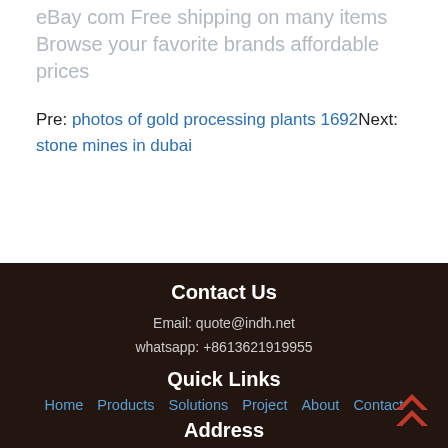eBay com Free shipping on many items Browse your favorite brands affordable prices
Pre: photos of gold processing plants 1692Next: stone mines in dubai
Contact Us
Email: quote@indh.net
whatsapp: +8613621919955
Quick Links
Home  Products  Solutions  Project  About  Contact
Address